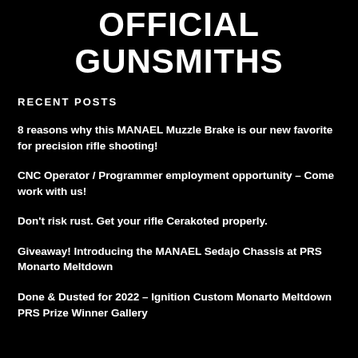OFFICIAL GUNSMITHS
RECENT POSTS
8 reasons why this MANAEL Muzzle Brake is our new favorite for precision rifle shooting!
CNC Operator / Programmer employment opportunity – Come work with us!
Don't risk rust. Get your rifle Cerakoted properly.
Giveaway! Introducing the MANAEL Sedajo Chassis at PRS Monarto Meltdown
Done & Dusted for 2022 – Ignition Custom Monarto Meltdown PRS Prize Winner Gallery